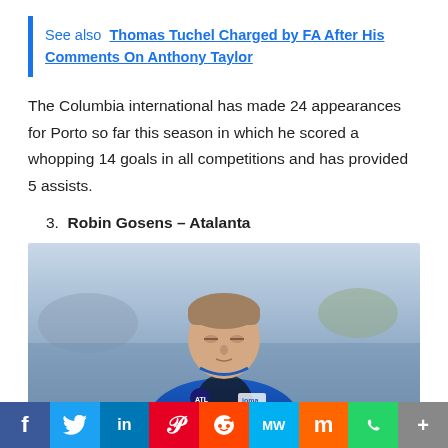See also  Thomas Tuchel Charged by FA After His Comments On Anthony Taylor
The Columbia international has made 24 appearances for Porto so far this season in which he scored a whopping 14 goals in all competitions and has provided 5 assists.
3. Robin Gosens – Atalanta
[Figure (photo): Robin Gosens, Atalanta footballer, wearing blue and black Joma kit with Atalanta badge, close-up portrait during a match]
f  Twitter  in  P  Reddit  MW  M  WhatsApp  +